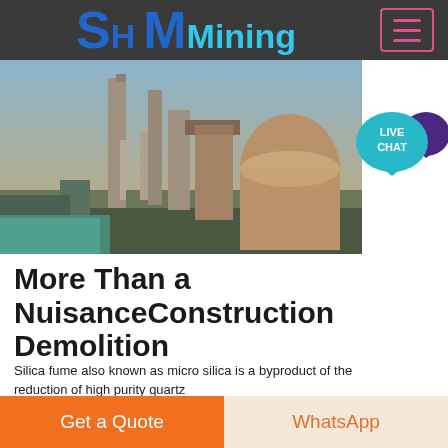SH MMining
[Figure (photo): Industrial mining/cement plant facility with tall silos, chimneys and industrial structures photographed at dusk or dawn with warm orange tones]
[Figure (infographic): LIVE CHAT speech bubble icon in teal/dark purple]
More Than a NuisanceConstruction Demolition
Silica fume also known as micro silica is a byproduct of the reduction of high purity quartz
Click to chat
Get a Quote | WhatsApp